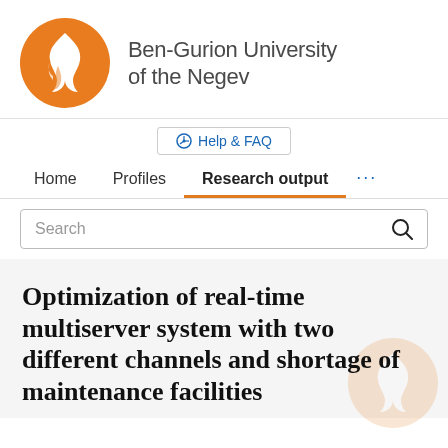[Figure (logo): Ben-Gurion University of the Negev logo: orange circle with white flame symbol, and university name text to the right]
Help & FAQ
Home   Profiles   Research output   ...
Search
Optimization of real-time multiserver system with two different channels and shortage of maintenance facilities